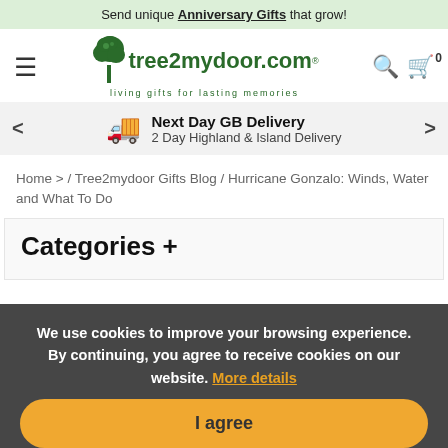Send unique Anniversary Gifts that grow!
[Figure (logo): tree2mydoor.com logo with tree icon and tagline 'living gifts for lasting memories']
Next Day GB Delivery
2 Day Highland & Island Delivery
Home > / Tree2mydoor Gifts Blog / Hurricane Gonzalo: Winds, Water and What To Do
Categories +
We use cookies to improve your browsing experience. By continuing, you agree to receive cookies on our website. More details
I agree